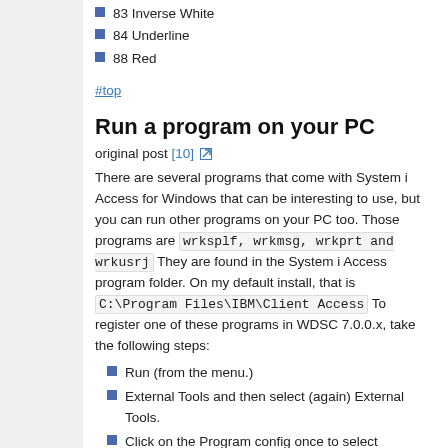83 Inverse White
84 Underline
88 Red
#top
Run a program on your PC
original post [10]
There are several programs that come with System i Access for Windows that can be interesting to use, but you can run other programs on your PC too. Those programs are wrksplf, wrkmsg, wrkprt and wrkusrj They are found in the System i Access program folder. On my default install, that is C:\Program Files\IBM\Client Access To register one of these programs in WDSC 7.0.0.x, take the following steps:
Run (from the menu.)
External Tools and then select (again) External Tools.
Click on the Program config once to select